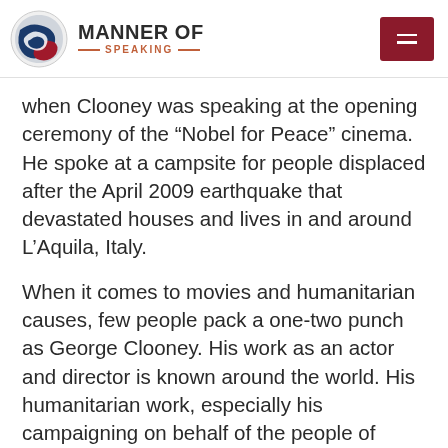MANNER OF SPEAKING
when Clooney was speaking at the opening ceremony of the “Nobel for Peace” cinema. He spoke at a campsite for people displaced after the April 2009 earthquake that devastated houses and lives in and around L’Aquila, Italy.
When it comes to movies and humanitarian causes, few people pack a one-two punch as George Clooney. His work as an actor and director is known around the world. His humanitarian work, especially his campaigning on behalf of the people of Darfur, Sudan, is